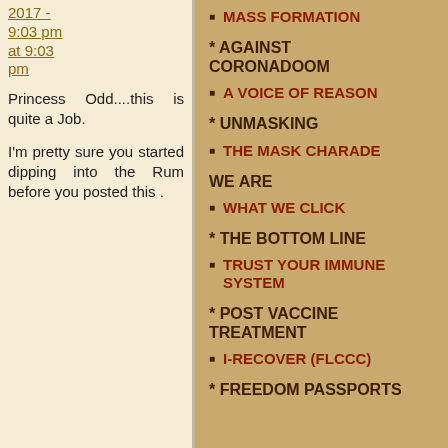2017 - 9:03 pm at 9:03 pm
Princess Odd....this is quite a Job.
I'm pretty sure you started dipping into the Rum before you posted this .
MASS FORMATION
* AGAINST CORONADOOM
A VOICE OF REASON
* UNMASKING
THE MASK CHARADE
WE ARE
WHAT WE CLICK
* THE BOTTOM LINE
TRUST YOUR IMMUNE SYSTEM
* POST VACCINE TREATMENT
I-RECOVER (FLCCC)
* FREEDOM PASSPORTS